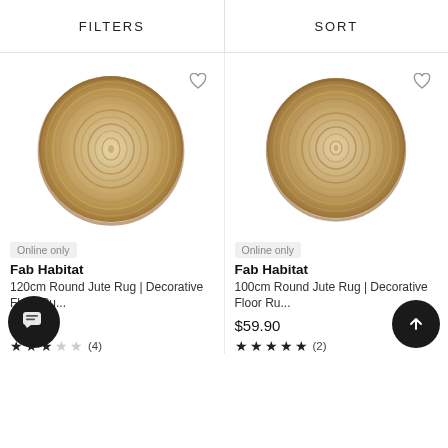FILTERS | SORT
[Figure (photo): Round jute rug with concentric woven pattern, natural beige/tan color, circular shape with slightly irregular edges. Left product image.]
Online only
Fab Habitat
120cm Round Jute Rug | Decorative Floor Ru...
$79.90
★★★☆☆ (4)
[Figure (photo): Round jute rug with concentric woven pattern, natural beige/tan color, circular shape with slightly irregular edges. Right product image.]
Online only
Fab Habitat
100cm Round Jute Rug | Decorative Floor Ru...
$59.90
★★★★★ (2)